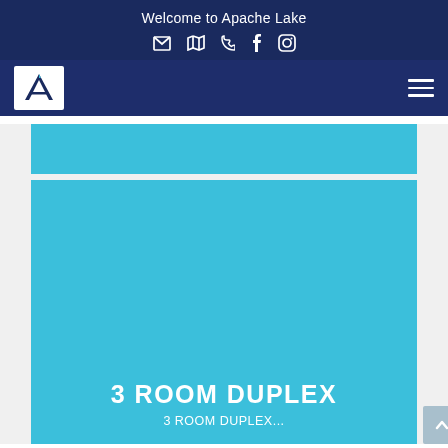Welcome to Apache Lake
[Figure (screenshot): Website header with navigation bar showing Apache Lake logo and hamburger menu on dark navy background]
[Figure (photo): Cyan/light blue image card placeholder for 3 Room Duplex listing]
3 ROOM DUPLEX
3 ROOM DUPLEX...